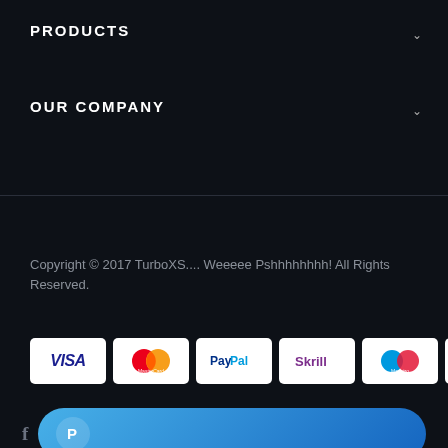PRODUCTS
OUR COMPANY
Copyright © 2017 TurboXS.... Weeeee Pshhhhhhhh! All Rights Reserved.
[Figure (logo): Row of payment method icons: VISA, MasterCard, PayPal, Skrill, Maestro, VISA Electron]
[Figure (logo): Facebook icon (f) and a blue rounded PayPal button with white P logo]